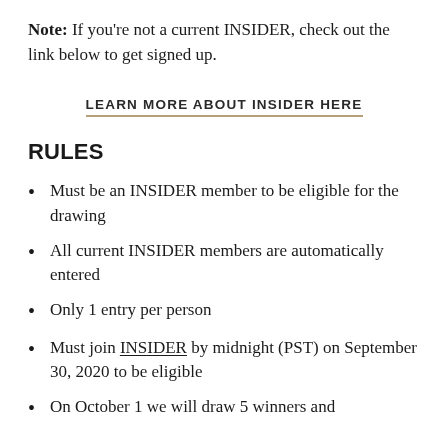Note: If you're not a current INSIDER, check out the link below to get signed up.
LEARN MORE ABOUT INSIDER HERE
RULES
Must be an INSIDER member to be eligible for the drawing
All current INSIDER members are automatically entered
Only 1 entry per person
Must join INSIDER by midnight (PST) on September 30, 2020 to be eligible
On October 1 we will draw 5 winners and